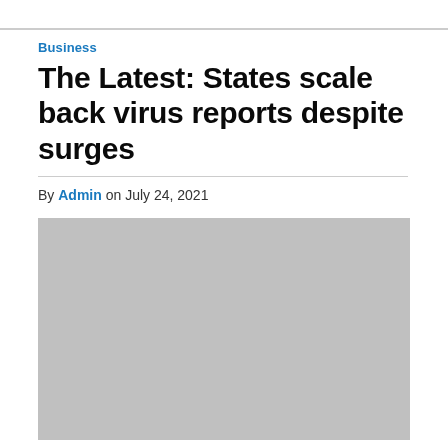Business
The Latest: States scale back virus reports despite surges
By Admin on July 24, 2021
[Figure (photo): Gray placeholder image for article photo]